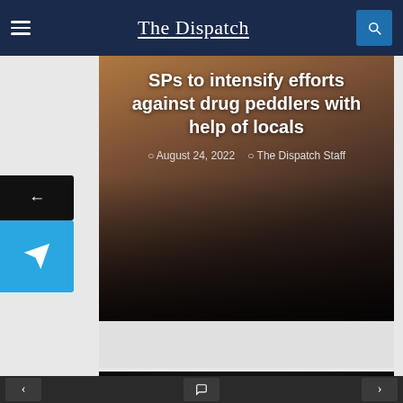The Dispatch
[Figure (photo): News article card with police officer in background. Headline: SPs to intensify efforts against drug peddlers with help of locals. Date: August 24, 2022. Author: The Dispatch Staff.]
[Figure (photo): News article card with handcuffed hands in background. Category badge: The Newsfeed. Headline: Man arrested for misrepresenting himself as SLTC expert of J&K Housing Board: CBK. Date: August 24, 2022. Author: The Dispatch Staff.]